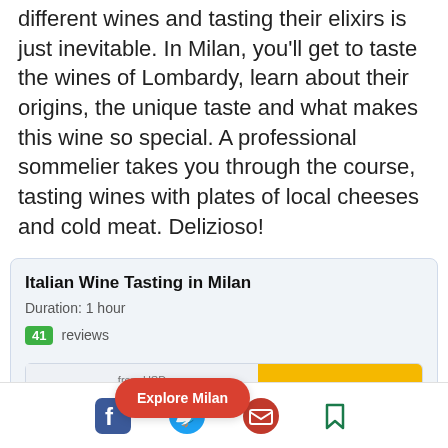different wines and tasting their elixirs is just inevitable. In Milan, you'll get to taste the wines of Lombardy, learn about their origins, the unique taste and what makes this wine so special. A professional sommelier takes you through the course, tasting wines with plates of local cheeses and cold meat. Delizioso!
Italian Wine Tasting in Milan
Duration: 1 hour
41 reviews
from USD
Explore Milan
Book Now